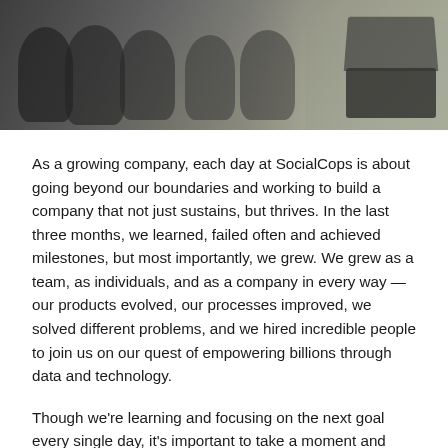[Figure (photo): A photo strip showing people (team members) sitting or crouching on the left side, with a desk/laptop visible on the right side. The image is in a muted, slightly dark tone.]
As a growing company, each day at SocialCops is about going beyond our boundaries and working to build a company that not just sustains, but thrives. In the last three months, we learned, failed often and achieved milestones, but most importantly, we grew. We grew as a team, as individuals, and as a company in every way — our products evolved, our processes improved, we solved different problems, and we hired incredible people to join us on our quest of empowering billions through data and technology.
Though we're learning and focusing on the next goal every single day, it's important to take a moment and celebrate milestones along the way. As we wrapped up the third